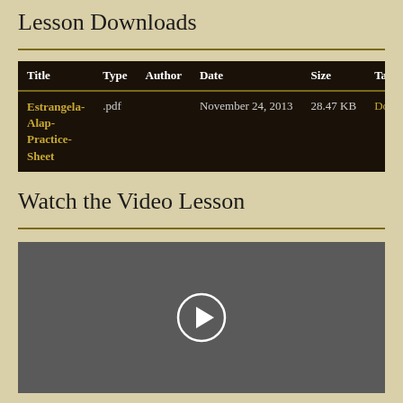Lesson Downloads
| Title | Type | Author | Date | Size | Tags |
| --- | --- | --- | --- | --- | --- |
| Estrangela-Alap-Practice-Sheet | .pdf |  | November 24, 2013 | 28.47 KB | Dow... |
Watch the Video Lesson
[Figure (screenshot): Video player with play button on dark grey background]